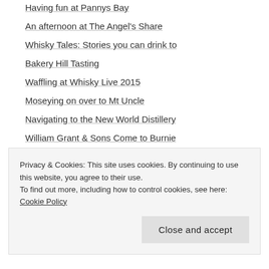Having fun at Pannys Bay
An afternoon at The Angel's Share
Whisky Tales: Stories you can drink to
Bakery Hill Tasting
Waffling at Whisky Live 2015
Moseying on over to Mt Uncle
Navigating to the New World Distillery
William Grant & Sons Come to Burnie
Hanging out at Hellyers Road
An evening at Hellyers Road: 12 years in the making
Privacy & Cookies: This site uses cookies. By continuing to use this website, you agree to their use.
To find out more, including how to control cookies, see here: Cookie Policy
Close and accept